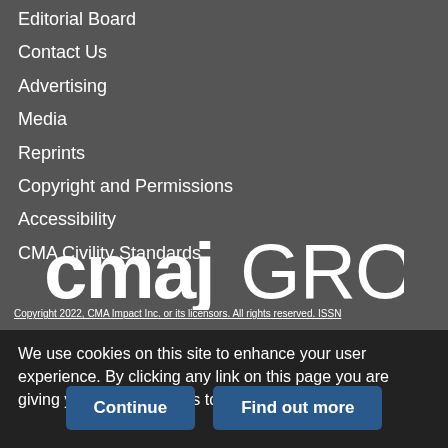Editorial Board
Contact Us
Advertising
Media
Reprints
Copyright and Permissions
Accessibility
CMA Civility Standards
[Figure (logo): cmajGROUP logo in white on dark grey background]
Copyright 2022, CMA Impact Inc. or its licensors. All rights reserved. ISSN
We use cookies on this site to enhance your user experience. By clicking any link on this page you are giving your consent for us to set cookies.
Continue | Find out more